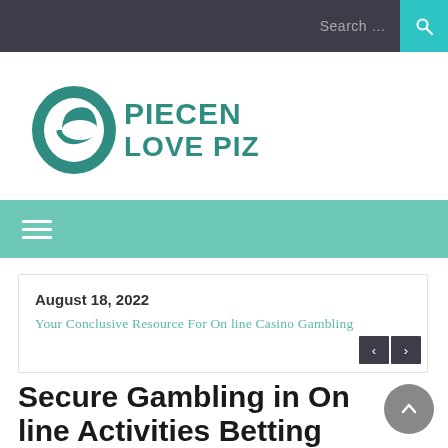Search ...
[Figure (logo): Epiecen Love Pizza logo — teal circular leaf/letter e icon with bold teal text PIECEN LOVE PIZZA]
≡ (hamburger menu icon)
August 18, 2022
Your Conclusive Resource For On line Casino Gambling
Secure Gambling in On line Activities Betting Internet sites